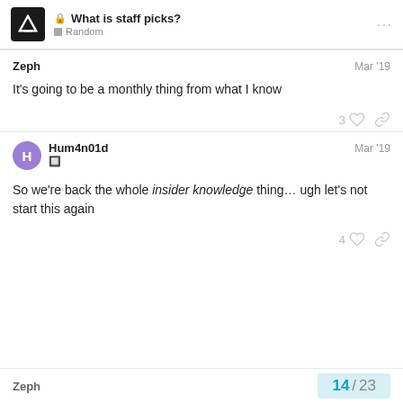What is staff picks? | Random
It's going to be a monthly thing from what I know
So we're back the whole insider knowledge thing… ugh let's not start this again
Zeph  14 / 23